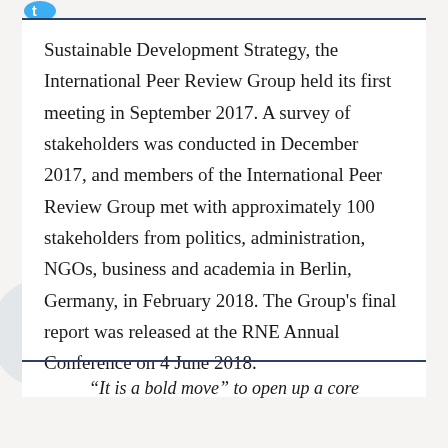Sustainable Development Strategy, the International Peer Review Group held its first meeting in September 2017. A survey of stakeholders was conducted in December 2017, and members of the International Peer Review Group met with approximately 100 stakeholders from politics, administration, NGOs, business and academia in Berlin, Germany, in February 2018. The Group's final report was released at the RNE Annual Conference on 4 June 2018.
“It is a bold move” to open up a core